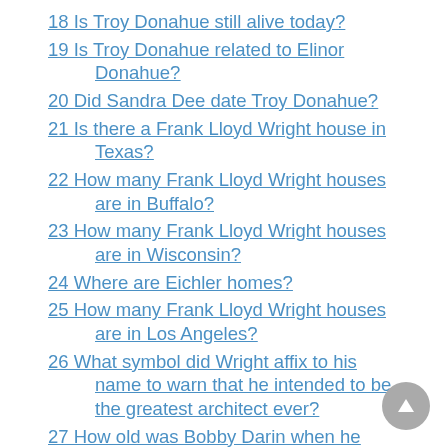18 Is Troy Donahue still alive today?
19 Is Troy Donahue related to Elinor Donahue?
20 Did Sandra Dee date Troy Donahue?
21 Is there a Frank Lloyd Wright house in Texas?
22 How many Frank Lloyd Wright houses are in Buffalo?
23 How many Frank Lloyd Wright houses are in Wisconsin?
24 Where are Eichler homes?
25 How many Frank Lloyd Wright houses are in Los Angeles?
26 What symbol did Wright affix to his name to warn that he intended to be the greatest architect ever?
27 How old was Bobby Darin when he passed away?
28 Was Bobby Darin sister really his mother?
29 What was wrong with Sandra Dee?
30 Where is Bobby Darin buried?
31 Where is Troy Donahue buried?